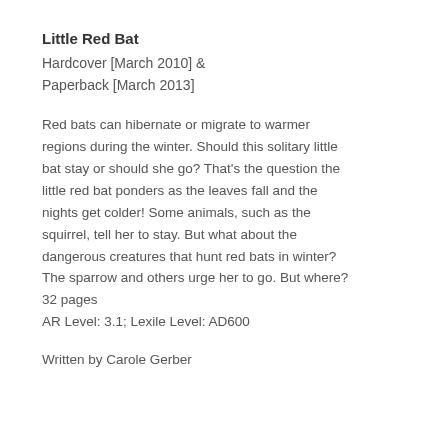Little Red Bat
Hardcover [March 2010] &
Paperback [March 2013]
Red bats can hibernate or migrate to warmer regions during the winter. Should this solitary little bat stay or should she go? That's the question the little red bat ponders as the leaves fall and the nights get colder! Some animals, such as the squirrel, tell her to stay. But what about the dangerous creatures that hunt red bats in winter? The sparrow and others urge her to go. But where? 32 pages
AR Level: 3.1; Lexile Level: AD600
Written by Carole Gerber